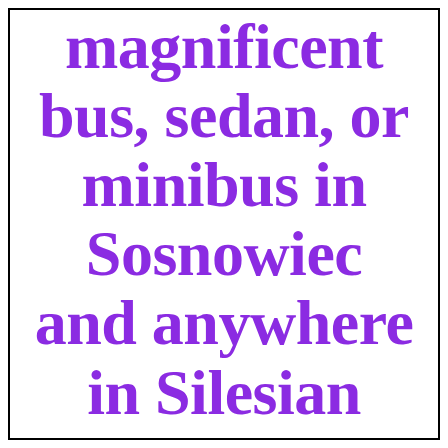magnificent bus, sedan, or minibus in Sosnowiec and anywhere in Silesian